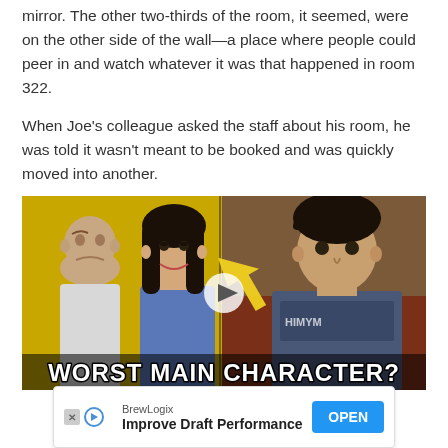mirror. The other two-thirds of the room, it seemed, were on the other side of the wall—a place where people could peer in and watch whatever it was that happened in room 322.
When Joe's colleague asked the staff about his room, he was told it wasn't meant to be booked and was quickly moved into another.
[Figure (photo): Video thumbnail showing two panels: left panel with a bald man and a dark-haired woman in front of a yellow background; right panel with a young man in a grey shirt with a yellow arrow graphic. Text overlay reads 'WORST MAIN CHARACTER?' with a play button in the center.]
BrewLogix
Improve Draft Performance
OPEN